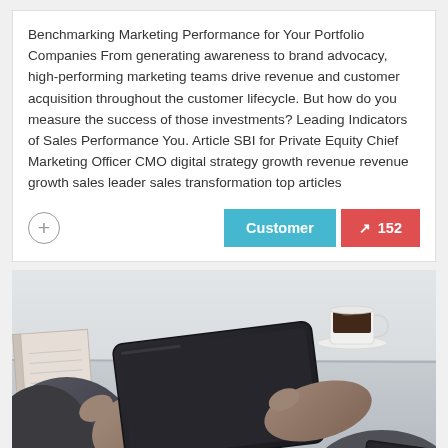Benchmarking Marketing Performance for Your Portfolio Companies From generating awareness to brand advocacy, high-performing marketing teams drive revenue and customer acquisition throughout the customer lifecycle. But how do you measure the success of those investments? Leading Indicators of Sales Performance You. Article SBI for Private Equity Chief Marketing Officer CMO digital strategy growth revenue revenue growth sales leader sales transformation top articles
[Figure (photo): Person's hands holding a tablet device at a desk, with a coffee cup and notebook visible in the background]